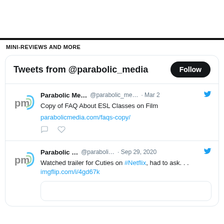MINI-REVIEWS AND MORE
[Figure (screenshot): Twitter/X widget showing 'Tweets from @parabolic_media' with a Follow button and two tweets from Parabolic Media account. First tweet dated Mar 2: 'Copy of FAQ About ESL Classes on Film parabolicmedia.com/faqs-copy/'. Second tweet dated Sep 29, 2020: 'Watched trailer for Cuties on #Netflix, had to ask. . . imgflip.com/i/4gd67k']